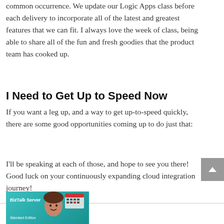common occurrence. We update our Logic Apps class before each delivery to incorporate all of the latest and greatest features that we can fit. I always love the week of class, being able to share all of the fun and fresh goodies that the product team has cooked up.
I Need to Get Up to Speed Now
If you want a leg up, and a way to get up-to-speed quickly, there are some good opportunities coming up to do just that:
I'll be speaking at each of those, and hope to see you there! Good luck on your continuously expanding cloud integration journey!
[Figure (illustration): Book or product cover image for BizTalk Server related content, featuring teal/green background with a cartoon illustration of a person and calendar/schedule icons, with text 'BizTalk Server' and 'Standard Edition' visible]